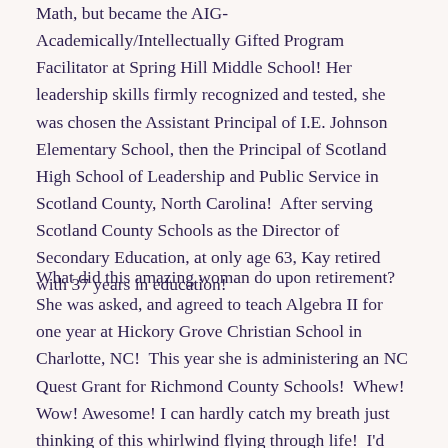Math, but became the AIG-Academically/Intellectually Gifted Program Facilitator at Spring Hill Middle School! Her leadership skills firmly recognized and tested, she was chosen the Assistant Principal of I.E. Johnson Elementary School, then the Principal of Scotland High School of Leadership and Public Service in Scotland County, North Carolina!  After serving Scotland County Schools as the Director of Secondary Education, at only age 63, Kay retired with 37 years in education!
What did this amazing woman do upon retirement?  She was asked, and agreed to teach Algebra II for one year at Hickory Grove Christian School in Charlotte, NC!  This year she is administering an NC Quest Grant for Richmond County Schools!  Whew! Wow! Awesome! I can hardly catch my breath just thinking of this whirlwind flying through life!  I'd certainly have to compare her to a soaring Eagle when I think of this quote which I believe describes her very well: